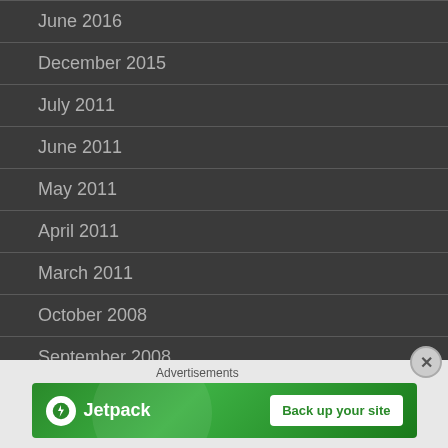June 2016
December 2015
July 2011
June 2011
May 2011
April 2011
March 2011
October 2008
September 2008
Advertisements
[Figure (screenshot): Jetpack advertisement banner with logo and 'Back up your site' button on green background]